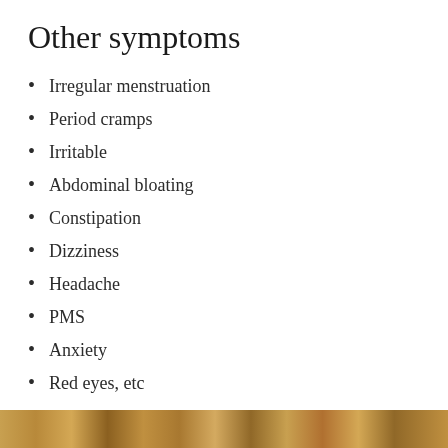Other symptoms
Irregular menstruation
Period cramps
Irritable
Abdominal bloating
Constipation
Dizziness
Headache
PMS
Anxiety
Red eyes, etc
Where can you get the Chinese Herbs?
[Figure (photo): Strip of herbs/natural ingredients image at the bottom of the page]